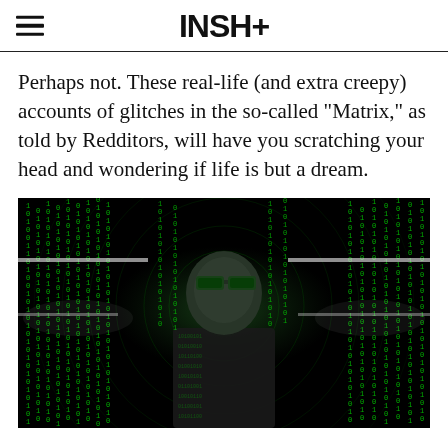INSH+
Perhaps not. These real-life (and extra creepy) accounts of glitches in the so-called “Matrix,” as told by Redditors, will have you scratching your head and wondering if life is but a dream.
[Figure (photo): A person wearing sunglasses surrounded by cascading green Matrix-style binary code digital rain, forming circular patterns around the figure.]